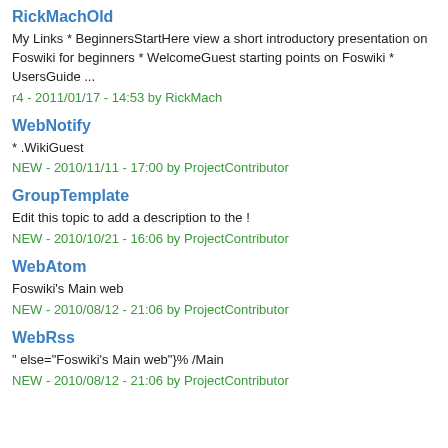RickMachOld
My Links * BeginnersStartHere view a short introductory presentation on Foswiki for beginners * WelcomeGuest starting points on Foswiki * UsersGuide ...
r4 - 2011/01/17 - 14:53 by RickMach
WebNotify
* .WikiGuest
NEW - 2010/11/11 - 17:00 by ProjectContributor
GroupTemplate
Edit this topic to add a description to the !
NEW - 2010/10/21 - 16:06 by ProjectContributor
WebAtom
Foswiki's Main web
NEW - 2010/08/12 - 21:06 by ProjectContributor
WebRss
" else="Foswiki's Main web"}% /Main
NEW - 2010/08/12 - 21:06 by ProjectContributor